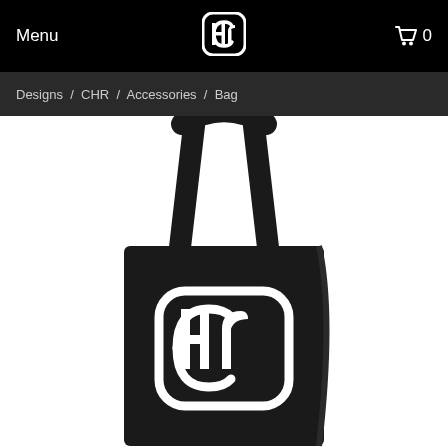Menu  [CHR Logo]  [Cart] 0
Designs / CHR / Accessories / Bag
[Figure (photo): Black tote bag with white CHR logo printed on the front, hanging by its straps against a white background]